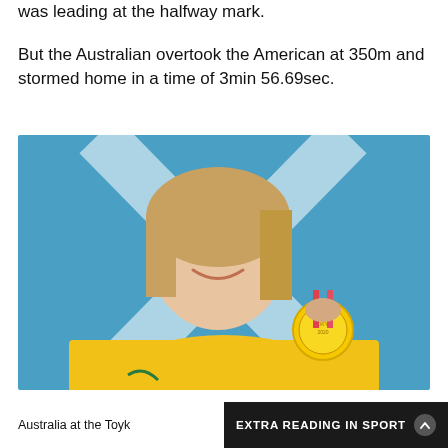was leading at the halfway mark.
But the Australian overtook the American at 350m and stormed home in a time of 3min 56.69sec.
[Figure (photo): Ariarne Titmus holding up a gold medal at the Tokyo 2020 Olympics, wearing a yellow Australian team jacket, smiling. Blue background with a white cross/X pattern. The medal ribbon is pink/red and the medal shows TOKYO 2020 text.]
Ariarne Titmus poses with the second gold won by Australia at the Tokyo Olympics — Getty Images